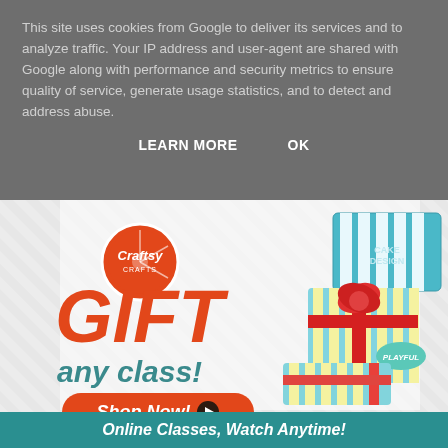This site uses cookies from Google to deliver its services and to analyze traffic. Your IP address and user-agent are shared with Google along with performance and security metrics to ensure quality of service, generate usage statistics, and to detect and address abuse.
LEARN MORE    OK
[Figure (infographic): Craftsy advertisement banner showing 'GIFT any class! Shop Now!' with gift cards and Craftsy logo. Bottom bar reads 'Online Classes, Watch Anytime!']